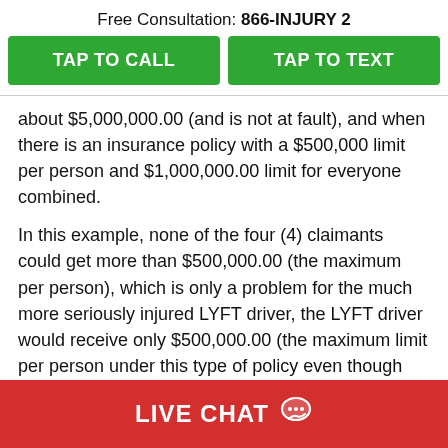Free Consultation: 866-INJURY 2
TAP TO CALL
TAP TO TEXT
about $5,000,000.00 (and is not at fault), and when there is an insurance policy with a $500,000 limit per person and $1,000,000.00 limit for everyone combined.
In this example, none of the four (4) claimants could get more than $500,000.00 (the maximum per person), which is only a problem for the much more seriously injured LYFT driver, the LYFT driver would receive only $500,000.00 (the maximum limit per person under this type of policy even though the Lyft
LIVE CHAT